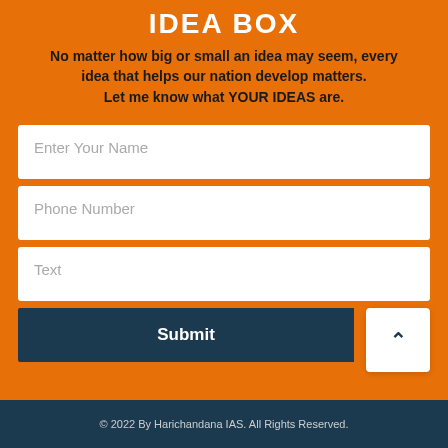IDEA BOX
No matter how big or small an idea may seem, every idea that helps our nation develop matters. Let me know what YOUR IDEAS are.
[Figure (other): Web form with fields: Enter Your Name, Phone Number, Text, and a Submit button with an up-arrow scroll button]
© 2022 By Harichandana IAS. All Rights Reserved.